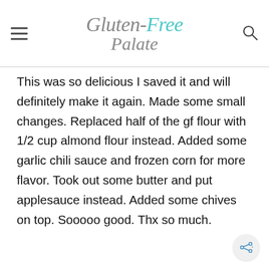Gluten-Free Palate
This was so delicious I saved it and will definitely make it again. Made some small changes. Replaced half of the gf flour with 1/2 cup almond flour instead. Added some garlic chili sauce and frozen corn for more flavor. Took out some butter and put applesauce instead. Added some chives on top. Sooooo good. Thx so much.